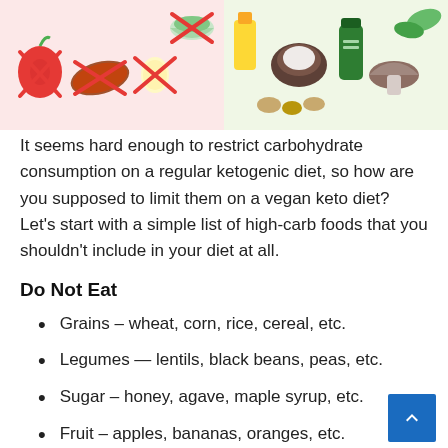[Figure (illustration): Two-panel illustration: left panel has pink background showing crossed-out foods (apple, sweet potato, egg, green powder bowl); right panel has light green background showing allowed keto foods (oils, coconut, mushroom, supplements, nuts).]
It seems hard enough to restrict carbohydrate consumption on a regular ketogenic diet, so how are you supposed to limit them on a vegan keto diet? Let's start with a simple list of high-carb foods that you shouldn't include in your diet at all.
Do Not Eat
Grains – wheat, corn, rice, cereal, etc.
Legumes — lentils, black beans, peas, etc.
Sugar – honey, agave, maple syrup, etc.
Fruit – apples, bananas, oranges, etc.
Tubers – potato, yams, etc.